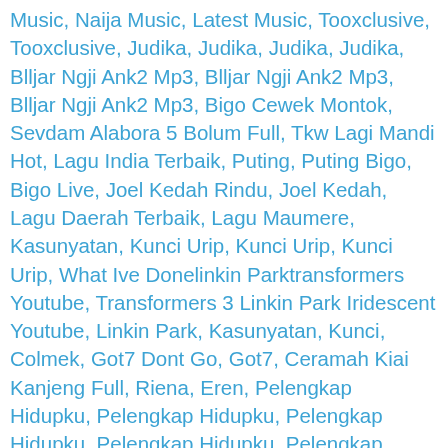Music, Naija Music, Latest Music, Tooxclusive, Tooxclusive, Judika, Judika, Judika, Judika, Blljar Ngji Ank2 Mp3, Blljar Ngji Ank2 Mp3, Blljar Ngji Ank2 Mp3, Bigo Cewek Montok, Sevdam Alabora 5 Bolum Full, Tkw Lagi Mandi Hot, Lagu India Terbaik, Puting, Puting Bigo, Bigo Live, Joel Kedah Rindu, Joel Kedah, Lagu Daerah Terbaik, Lagu Maumere, Kasunyatan, Kunci Urip, Kunci Urip, Kunci Urip, What Ive Donelinkin Parktransformers Youtube, Transformers 3 Linkin Park Iridescent Youtube, Linkin Park, Kasunyatan, Kunci, Colmek, Got7 Dont Go, Got7, Ceramah Kiai Kanjeng Full, Riena, Eren, Pelengkap Hidupku, Pelengkap Hidupku, Pelengkap Hidupku, Pelengkap Hidupku, Pelengkap Hidupku, Cecenin Kralicesi Ru, Cinta Purapura, Teuku Ryzki, Rizky Cjr, Ghosts Jacob Tillberg, Heartless Jacob Tillberg, Bigo Indo Bugil, Ubavata Selanka 45 Epizoda, Lagu Maumere, Lagu Maumere, Lagu Maumere, Anak Medan, Tumhin Dua, Lagu Maumere, Porno, Lagu Minang Cinta Dan Di Bali, Lagu Minang Cinta Hian, Lagu Minang 2016, Lagu Minang, Lagu Minang Ipank, Lagu Minang Terbaru, Lagu Minang Terbaru, Lagu Minang Terbaru, Lagu Minang Terbaru, Lagu Minang Terbaru, Lagu Minang, Film Porno Jepang Full Movie, Clean Bandit Rockabye Ft Sean Paul Annemarie Mp3, Rock A Bye, Make Me Move, G Dragon Crooked, Lagu Maumere, Lagu Maumere, Babby Ragga Tefekari, Ethiopia Music, Qian Qian Quege, Qian